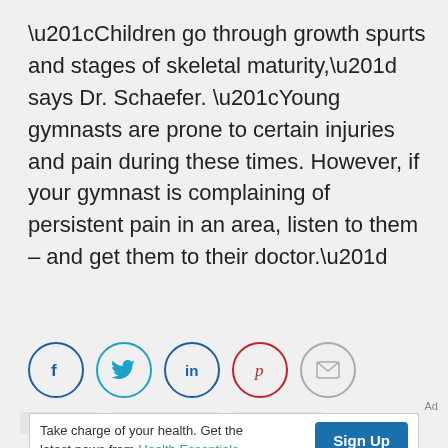“Children go through growth spurts and stages of skeletal maturity,” says Dr. Schaefer. “Young gymnasts are prone to certain injuries and pain during these times. However, if your gymnast is complaining of persistent pain in an area, listen to them – and get them to their doctor.”
[Figure (infographic): Row of 5 social share icon buttons: Facebook (blue circle), Twitter (teal circle), LinkedIn (blue circle), Pinterest (red circle), Email (gray circle)]
gymnastics
gymnastics injury
sports injuries
[Figure (infographic): Advertisement banner: Take charge of your health. Get the latest news from Health Essentials. Sign Up button.]